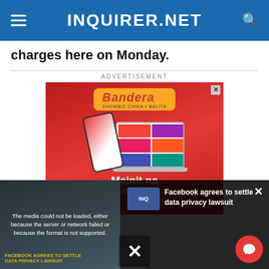INQUIRER.NET
charges here on Monday.
ADVERTISEMENT
[Figure (photo): Bandera advertisement showing smartphone and laptop with Showbiz Chika content. Text reads 'Mainit na SHOWBIZ CHIKA']
[Figure (screenshot): Video overlay showing error message: 'The media could not be loaded, either because the server or network failed or because the format is not supported.' with Facebook data privacy lawsuit article thumbnail and X close button at bottom.]